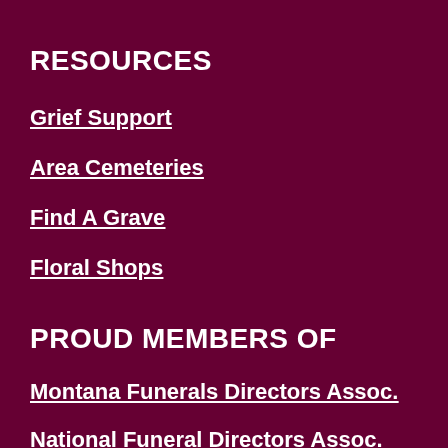RESOURCES
Grief Support
Area Cemeteries
Find A Grave
Floral Shops
PROUD MEMBERS OF
Montana Funerals Directors Assoc.
National Funeral Directors Assoc.